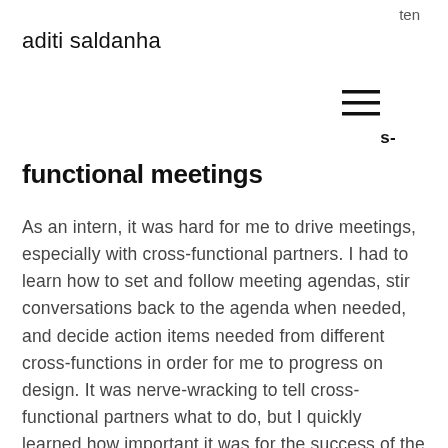ten
aditi saldanha
s-
functional meetings
As an intern, it was hard for me to drive meetings, especially with cross-functional partners. I had to learn how to set and follow meeting agendas, stir conversations back to the agenda when needed, and decide action items needed from different cross-functions in order for me to progress on design. It was nerve-wracking to tell cross-functional partners what to do, but I quickly learned how important it was for the success of the project...